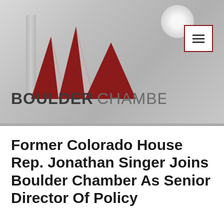[Figure (logo): Boulder Chamber logo with three red angular mountain-like shapes and text BOULDER CHAMBER below, on a blurred grey background. A hamburger menu button with red border is in the top right.]
Former Colorado House Rep. Jonathan Singer Joins Boulder Chamber As Senior Director Of Policy